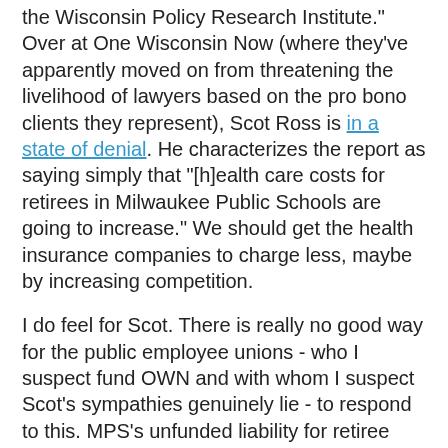the Wisconsin Policy Research Institute." Over at One Wisconsin Now (where they've apparently moved on from threatening the livelihood of lawyers based on the pro bono clients they represent), Scot Ross is in a state of denial. He characterizes the report as saying simply that "[h]ealth care costs for retirees in Milwaukee Public Schools are going to increase." We should get the health insurance companies to charge less, maybe by increasing competition.
I do feel for Scot. There is really no good way for the public employee unions - who I suspect fund OWN and with whom I suspect Scot's sympathies genuinely lie - to respond to this. MPS's unfunded liability for retiree health care benefits currently stands at $2.6 billion and growing. Paying the health care benefits of people who no longer work for the district (and my sister is likely to be one of them) will grow to 20% of payroll costs in 2016. MPS' current burden rate (the amount spent for the inaptly named fringe benefits) is 68.7%. A generous private employer will typically have a burden rate of less than half that.
So there was no good thing for a guy like Scot to say. But what he did say is at least with it and he is the first Scot...